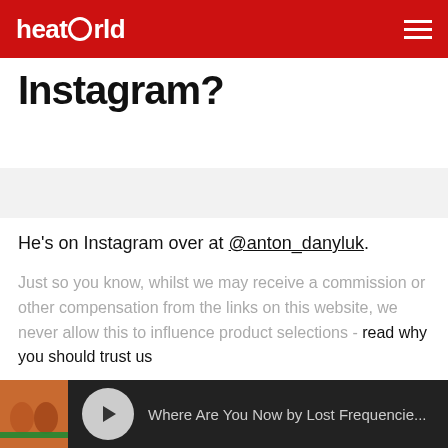heatworld
Instagram?
He's on Instagram over at @anton_danyluk.
Just so you know, whilst we may receive a commission or other compensation from the links on this website, we never allow this to influence product selections - read why you should trust us
You may also like
[Figure (photo): Pink promotional image with yellow text]
[Figure (screenshot): Music player bar showing 'Where Are You Now by Lost Frequencie...' with play button and thumbnail]